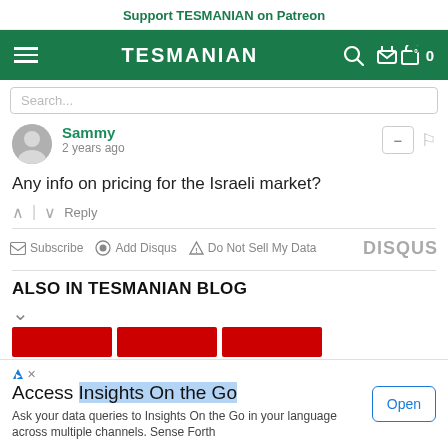Support TESMANIAN on Patreon
TESMANIAN
Sammy
2 years ago
Any info on pricing for the Israeli market?
Reply
Subscribe  Add Disqus  Do Not Sell My Data  DISQUS
ALSO IN TESMANIAN BLOG
Access Insights On the Go
Ask your data queries to Insights On the Go in your language across multiple channels. Sense Forth